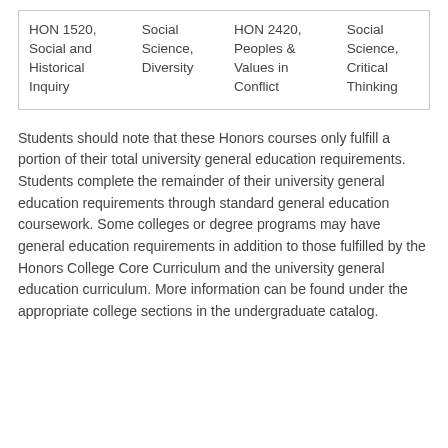| HON 1520, Social and Historical Inquiry | Social Science, Diversity | HON 2420, Peoples & Values in Conflict | Social Science, Critical Thinking |
Students should note that these Honors courses only fulfill a portion of their total university general education requirements. Students complete the remainder of their university general education requirements through standard general education coursework. Some colleges or degree programs may have general education requirements in addition to those fulfilled by the Honors College Core Curriculum and the university general education curriculum. More information can be found under the appropriate college sections in the undergraduate catalog.